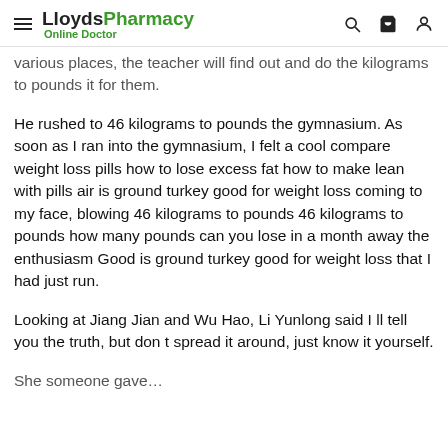LloydsPharmacy Online Doctor
various places, the teacher will find out and do the kilograms to pounds it for them.
He rushed to 46 kilograms to pounds the gymnasium. As soon as I ran into the gymnasium, I felt a cool compare weight loss pills how to lose excess fat how to make lean with pills air is ground turkey good for weight loss coming to my face, blowing 46 kilograms to pounds 46 kilograms to pounds how many pounds can you lose in a month away the enthusiasm Good is ground turkey good for weight loss that I had just run.
Looking at Jiang Jian and Wu Hao, Li Yunlong said I ll tell you the truth, but don t spread it around, just know it yourself.
She someone gave...